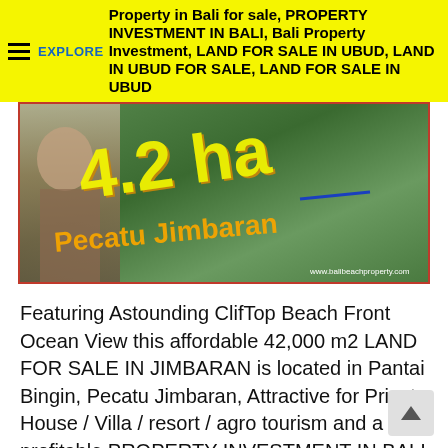EXPLORE Property in Bali for sale, PROPERTY INVESTMENT IN BALI, Bali Property Investment, LAND FOR SALE IN UBUD, LAND IN UBUD FOR SALE, LAND FOR SALE IN UBUD
[Figure (photo): Banner image showing a person in a tropical/garden setting with large yellow text overlay reading '4.2 ha' and 'Pecatu Jimbaran' watermark text. Red border around image.]
Featuring Astounding ClifTop Beach Front Ocean View this affordable 42,000 m2 LAND FOR SALE IN JIMBARAN is located in Pantai Bingin, Pecatu Jimbaran, Attractive for Private House / Villa / resort / agro tourism and a profitable PROPERTY INVESTMENT IN BALI Below are the specs and the feature of this Pecatu Jimbaran LAND FOR SALE … Read more